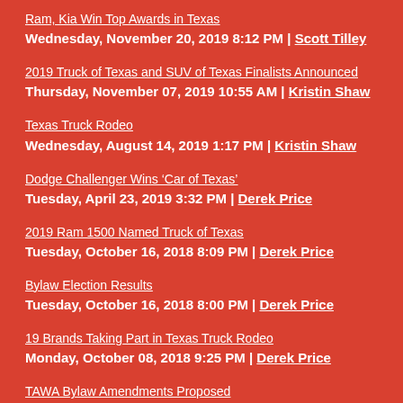Ram, Kia Win Top Awards in Texas
Wednesday, November 20, 2019 8:12 PM | Scott Tilley
2019 Truck of Texas and SUV of Texas Finalists Announced
Thursday, November 07, 2019 10:55 AM | Kristin Shaw
Texas Truck Rodeo
Wednesday, August 14, 2019 1:17 PM | Kristin Shaw
Dodge Challenger Wins ‘Car of Texas’
Tuesday, April 23, 2019 3:32 PM | Derek Price
2019 Ram 1500 Named Truck of Texas
Tuesday, October 16, 2018 8:09 PM | Derek Price
Bylaw Election Results
Tuesday, October 16, 2018 8:00 PM | Derek Price
19 Brands Taking Part in Texas Truck Rodeo
Monday, October 08, 2018 9:25 PM | Derek Price
TAWA Bylaw Amendments Proposed
Sunday, October 07, 2018 1:52 PM | Derek Price